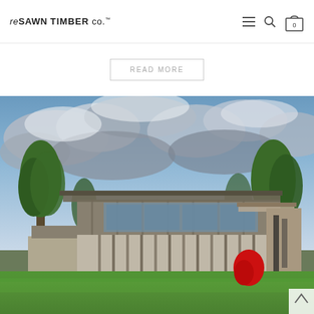reSAWN TIMBER co.™
READ MORE
[Figure (photo): Exterior photograph of a modern luxury home with wood cladding, large glass windows, flat cantilevered roof overhangs, surrounded by green lawn and trees under a dramatic cloudy blue sky. A red sculpture is visible near the entrance.]